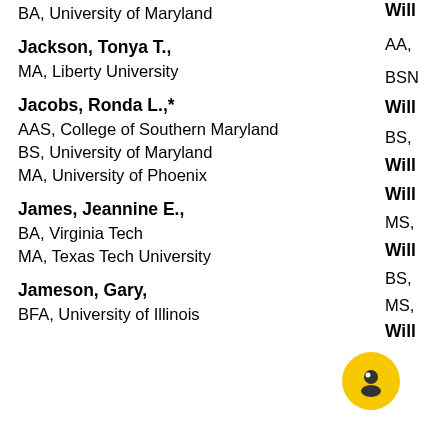BA, University of Maryland
Jackson, Tonya T.,
MA, Liberty University
Jacobs, Ronda L.,*
AAS, College of Southern Maryland
BS, University of Maryland
MA, University of Phoenix
James, Jeannine E.,
BA, Virginia Tech
MA, Texas Tech University
Jameson, Gary,
BFA, University of Illinois
Will
AA,
BSN
Will
BS,
Will
Will
MS,
Will
BS,
MS,
Will